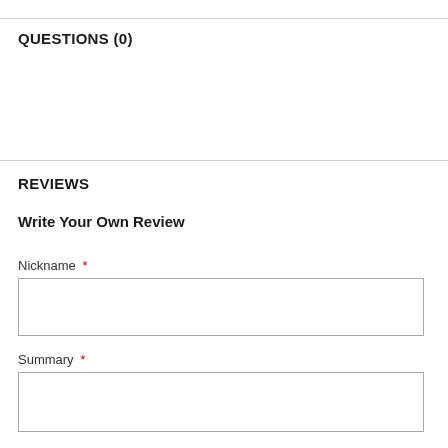QUESTIONS (0)
REVIEWS
Write Your Own Review
Nickname *
Summary *